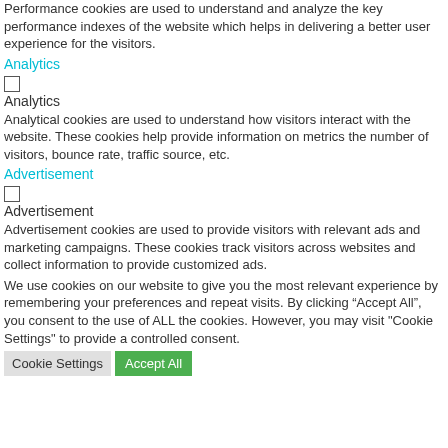Performance cookies are used to understand and analyze the key performance indexes of the website which helps in delivering a better user experience for the visitors.
Analytics
Analytics
Analytical cookies are used to understand how visitors interact with the website. These cookies help provide information on metrics the number of visitors, bounce rate, traffic source, etc.
Advertisement
Advertisement
Advertisement cookies are used to provide visitors with relevant ads and marketing campaigns. These cookies track visitors across websites and collect information to provide customized ads.
We use cookies on our website to give you the most relevant experience by remembering your preferences and repeat visits. By clicking “Accept All”, you consent to the use of ALL the cookies. However, you may visit "Cookie Settings" to provide a controlled consent.
Cookie Settings  Accept All